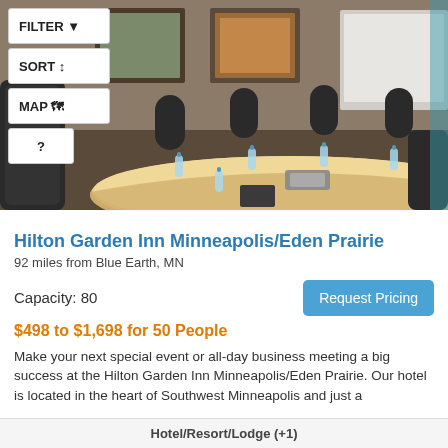[Figure (photo): Conference room with a large oval wooden table surrounded by black chairs, water bottles on the table, framed artwork on walls, and a whiteboard/screen at the far end.]
Hilton Garden Inn Minneapolis/Eden Prairie
92 miles from Blue Earth, MN
Capacity: 80
Request Pricing
$498 to $1,698 for 50 People
Make your next special event or all-day business meeting a big success at the Hilton Garden Inn Minneapolis/Eden Prairie. Our hotel is located in the heart of Southwest Minneapolis and just a
Hotel/Resort/Lodge (+1)